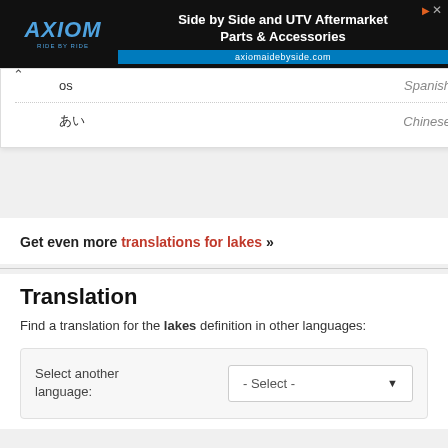[Figure (screenshot): Axiom Side by Side and UTV Aftermarket Parts & Accessories advertisement banner with logo and axiomaidebyside.com URL]
os — Spanish
□□ — Chinese
Get even more translations for lakes »
Translation
Find a translation for the lakes definition in other languages:
Select another language: - Select -